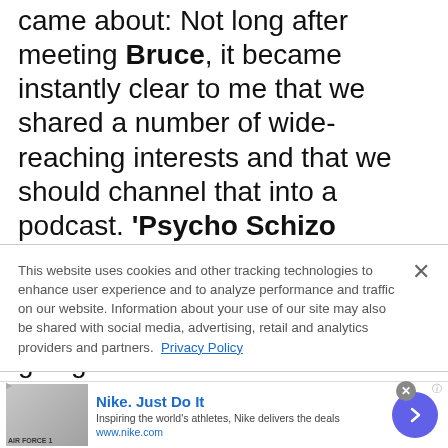came about: Not long after meeting Bruce, it became instantly clear to me that we shared a number of wide-reaching interests and that we should channel that into a podcast. 'Psycho Schizo Espresso' is certainly a journey of exploration for the both of us, and we are sure our listeners are going to learn a lot from our guests. Whether from the music industry, academia or elsewhere – you may, for instance,
This website uses cookies and other tracking technologies to enhance user experience and to analyze performance and traffic on our website. Information about your use of our site may also be shared with social media, advertising, retail and analytics providers and partners. Privacy Policy
[Figure (screenshot): Nike advertisement banner with shoe image, Nike. Just Do It headline, tagline, website URL, and navigation arrow button]